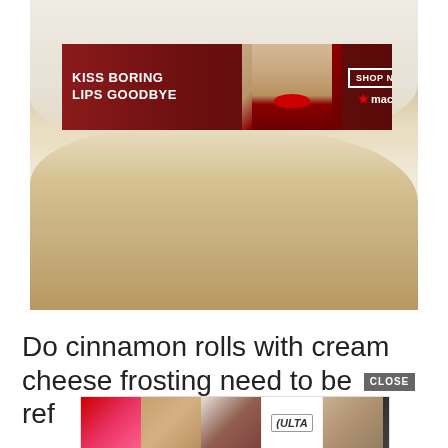[Figure (photo): Close-up photo of a cinnamon roll with white cream cheese frosting, with a Macy's advertisement banner overlaid showing 'KISS BORING LIPS GOODBYE' with a model and red lips, and a 'SHOP NOW' button next to the Macy's logo]
Do cinnamon rolls with cream cheese frosting need to be ref
[Figure (photo): Ulta Beauty advertisement banner with multiple close-up beauty images (lips, makeup brush, eyes) and the Ulta Beauty logo, with a 'SHOP NOW' button]
CLOSE
St...